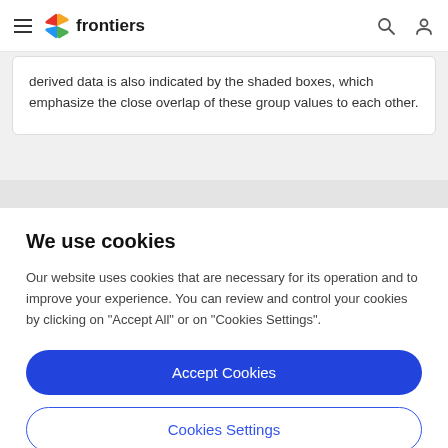frontiers
derived data is also indicated by the shaded boxes, which emphasize the close overlap of these group values to each other.
We use cookies
Our website uses cookies that are necessary for its operation and to improve your experience. You can review and control your cookies by clicking on "Accept All" or on "Cookies Settings".
Accept Cookies
Cookies Settings